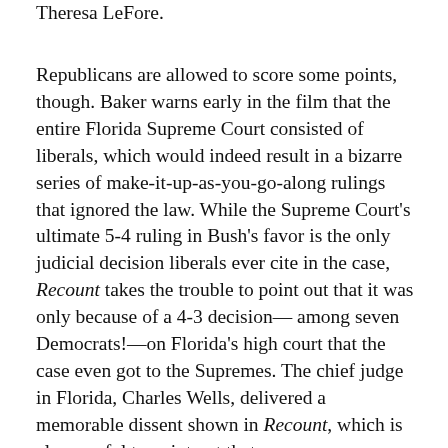Theresa LeFore.
Republicans are allowed to score some points, though. Baker warns early in the film that the entire Florida Supreme Court consisted of liberals, which would indeed result in a bizarre series of make-it-up-as-you-go-along rulings that ignored the law. While the Supreme Court's ultimate 5-4 ruling in Bush's favor is the only judicial decision liberals ever cite in the case, Recount takes the trouble to point out that it was only because of a 4-3 decision—among seven Democrats!—on Florida's high court that the case even got to the Supremes. The chief judge in Florida, Charles Wells, delivered a memorable dissent shown in Recount, which is also careful to point out that